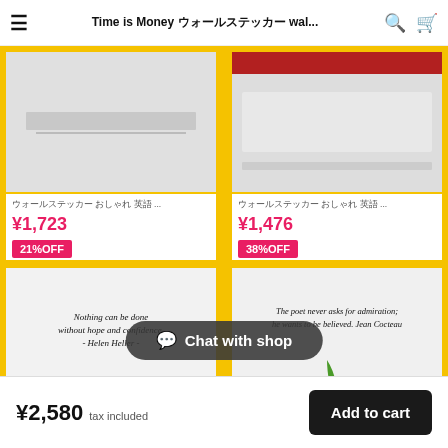Time is Money ウォールステッカー wal...
[Figure (photo): Product top-left: wall sticker product image, gray/white background]
ウォールステッカー おしゃれ 英語 ...
¥1,723
21%OFF
[Figure (photo): Product top-right: wall sticker product image with red shelf]
ウォールステッカー おしゃれ 英語 ...
¥1,476
38%OFF
[Figure (photo): Product bottom-left: wall sticker with quote 'Nothing can be done without hope and confidence. - Helen Heller -' above a white sofa]
ウォールステッカー おしゃれ 英語 ウォール ...
[Figure (photo): Product bottom-right: wall sticker with quote 'The poet never asks for admiration; he wants to be believed. Jean Cocteau' with vase and plant]
ウォールステッカー おしゃれ 英語 ...
¥2,580 tax included
Add to cart